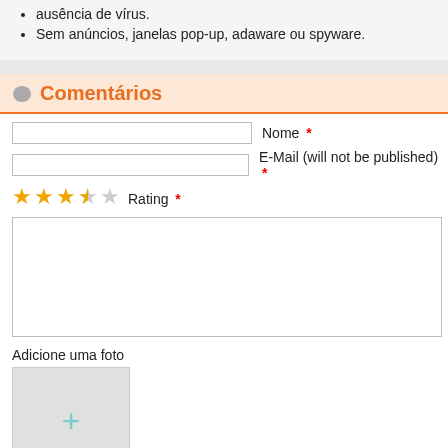ausência de vírus.
Sem anúncios, janelas pop-up, adaware ou spyware.
Comentários
Nome *
E-Mail (will not be published) *
Rating *
Adicione uma foto
[Figure (other): Photo upload placeholder box with a plus sign]
[Figure (other): Blue submit button]